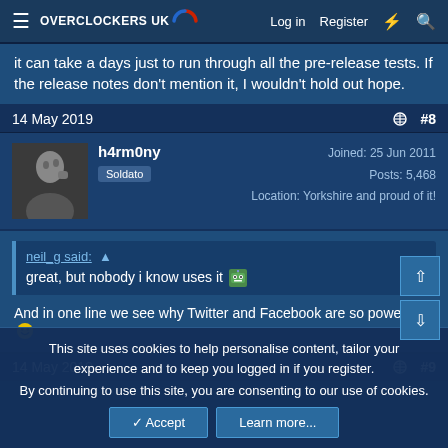OVERCLOCKERS UK — Log in | Register
it can take a days just to run through all the pre-release tests. If the release notes don't mention it, I wouldn't hold out hope.
14 May 2019  #8
h4rm0ny
Soldato
Joined: 25 Jun 2011
Posts: 5,468
Location: Yorkshire and proud of it!
neil_g said: ↑
great, but nobody i know uses it 😬
And in one line we see why Twitter and Facebook are so powerful. 😊
14 May 2019  #9
This site uses cookies to help personalise content, tailor your experience and to keep you logged in if you register.
By continuing to use this site, you are consenting to our use of cookies.